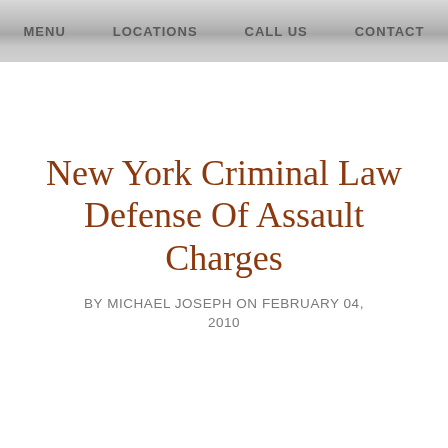MENU   LOCATIONS   CALL US   CONTACT
New York Criminal Law Defense Of Assault Charges
BY MICHAEL JOSEPH ON FEBRUARY 04, 2010